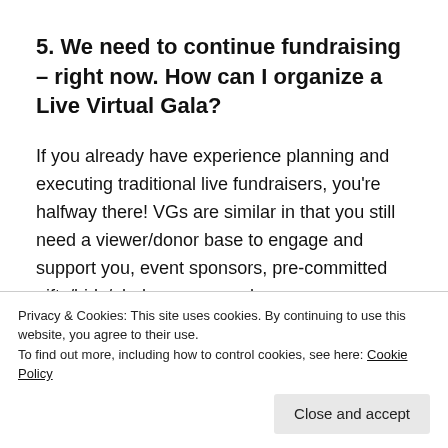5. We need to continue fundraising – right now. How can I organize a Live Virtual Gala?
If you already have experience planning and executing traditional live fundraisers, you're halfway there! VGs are similar in that you still need a viewer/donor base to engage and support you, event sponsors, pre-committed gifts/bids/pledges, a marvelous emcee, a talented benefit auction specialist, amazing program content, visuals and storytelling. The rest? Find a [cut off]
Privacy & Cookies: This site uses cookies. By continuing to use this website, you agree to their use. To find out more, including how to control cookies, see here: Cookie Policy